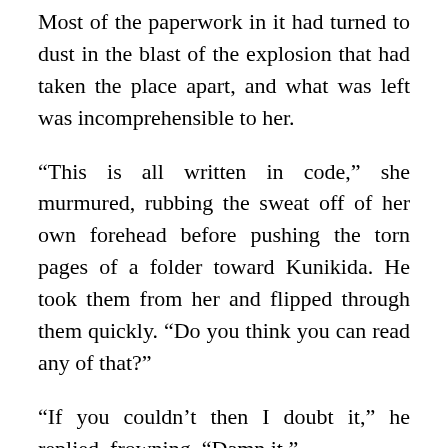Most of the paperwork in it had turned to dust in the blast of the explosion that had taken the place apart, and what was left was incomprehensible to her.
“This is all written in code,” she murmured, rubbing the sweat off of her own forehead before pushing the torn pages of a folder toward Kunikida. He took them from her and flipped through them quickly. “Do you think you can read any of that?”
“If you couldn’t then I doubt it,” he replied, frowning. “Damn it.”
This would’ve been a good opportunity to call him a hypocrite, but she felt too exhausted to. “Where’s Dazai?” she asked instead. “I haven’t seen him in a hot minute.”
Kunikida shrugged. “He was searching that office we